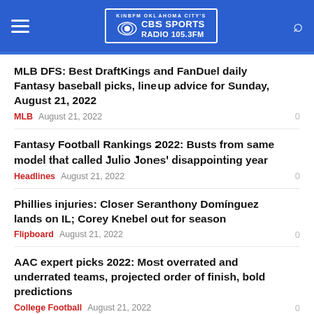KINBFM OKLAHOMA CITY'S CBS SPORTS RADIO 105.3FM
MLB DFS: Best DraftKings and FanDuel daily Fantasy baseball picks, lineup advice for Sunday, August 21, 2022
MLB  August 21, 2022  0
Fantasy Football Rankings 2022: Busts from same model that called Julio Jones' disappointing year
Headlines  August 21, 2022  0
Phillies injuries: Closer Seranthony Domínguez lands on IL; Corey Knebel out for season
Flipboard  August 21, 2022  0
AAC expert picks 2022: Most overrated and underrated teams, projected order of finish, bold predictions
College Football  August 21, 2022  0